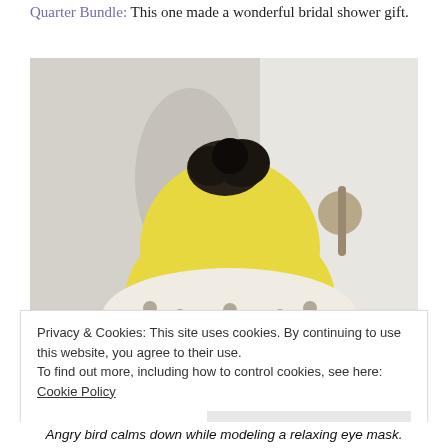Quarter Bundle: This one made a wonderful bridal shower gift.
[Figure (photo): Back view of a yellow Angry Bird plush toy wearing a polka-dot eye mask/blindfold, photographed near a door handle against a white background.]
Privacy & Cookies: This site uses cookies. By continuing to use this website, you agree to their use.
To find out more, including how to control cookies, see here: Cookie Policy
Angry bird calms down while modeling a relaxing eye mask.